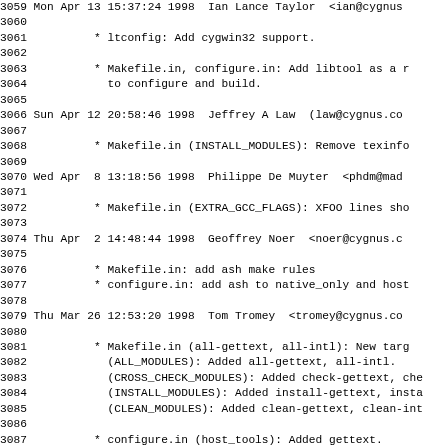3059 Mon Apr 13 15:37:24 1998  Ian Lance Taylor  <ian@cygnus
3060
3061          * ltconfig: Add cygwin32 support.
3062
3063          * Makefile.in, configure.in: Add libtool as a r
3064            to configure and build.
3065
3066 Sun Apr 12 20:58:46 1998  Jeffrey A Law  (law@cygnus.co
3067
3068          * Makefile.in (INSTALL_MODULES): Remove texinfo
3069
3070 Wed Apr  8 13:18:56 1998  Philippe De Muyter  <phdm@mad
3071
3072          * Makefile.in (EXTRA_GCC_FLAGS): XFOO lines sho
3073
3074 Thu Apr  2 14:48:44 1998  Geoffrey Noer  <noer@cygnus.c
3075
3076          * Makefile.in: add ash make rules
3077          * configure.in: add ash to native_only and host
3078
3079 Thu Mar 26 12:53:20 1998  Tom Tromey  <tromey@cygnus.co
3080
3081          * Makefile.in (all-gettext, all-intl): New targ
3082            (ALL_MODULES): Added all-gettext, all-intl.
3083            (CROSS_CHECK_MODULES): Added check-gettext, che
3084            (INSTALL_MODULES): Added install-gettext, insta
3085            (CLEAN_MODULES): Added clean-gettext, clean-int
3086
3087          * configure.in (host_tools): Added gettext.
3088            (native_only): Likewise.
3089            (noconfigdirs) [various cases]: Likewise.
3090            (host_libs): Added intl.